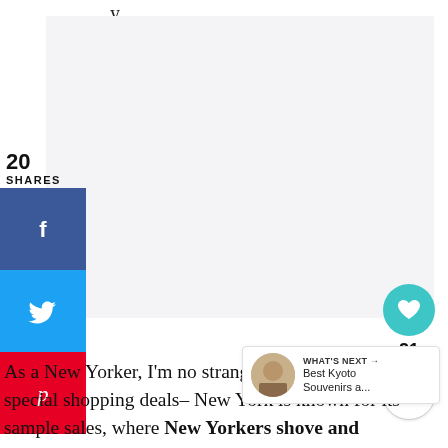[Figure (illustration): Light gray/white empty image placeholder box]
20
SHARES
[Figure (infographic): Social share sidebar with Facebook (f), Twitter (bird), and Pinterest (p) buttons]
[Figure (infographic): Floating heart/like widget showing 21, and a share icon button]
[Figure (infographic): WHAT'S NEXT → Best Kyoto Souvenirs a... popup with thumbnail]
As a New Yorker, I'm no stranger to waiting in line for special shopping deals– New York is known for its sample sales, where New Yorkers shove and